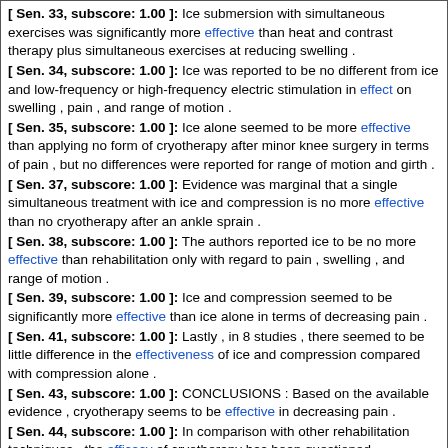[ Sen. 33, subscore: 1.00 ]: Ice submersion with simultaneous exercises was significantly more effective than heat and contrast therapy plus simultaneous exercises at reducing swelling .
[ Sen. 34, subscore: 1.00 ]: Ice was reported to be no different from ice and low-frequency or high-frequency electric stimulation in effect on swelling , pain , and range of motion .
[ Sen. 35, subscore: 1.00 ]: Ice alone seemed to be more effective than applying no form of cryotherapy after minor knee surgery in terms of pain , but no differences were reported for range of motion and girth .
[ Sen. 37, subscore: 1.00 ]: Evidence was marginal that a single simultaneous treatment with ice and compression is no more effective than no cryotherapy after an ankle sprain .
[ Sen. 38, subscore: 1.00 ]: The authors reported ice to be no more effective than rehabilitation only with regard to pain , swelling , and range of motion .
[ Sen. 39, subscore: 1.00 ]: Ice and compression seemed to be significantly more effective than ice alone in terms of decreasing pain .
[ Sen. 41, subscore: 1.00 ]: Lastly , in 8 studies , there seemed to be little difference in the effectiveness of ice and compression compared with compression alone .
[ Sen. 43, subscore: 1.00 ]: CONCLUSIONS : Based on the available evidence , cryotherapy seems to be effective in decreasing pain .
[ Sen. 44, subscore: 1.00 ]: In comparison with other rehabilitation techniques , the efficacy of cryotherapy has been questioned .
[ Sen. 45, subscore: 1.00 ]: The exact effect of cryotherapy on more frequently treated acute injuries ( eg , muscle strains and contusions ) has not been fully elucidated .
Score: 12.00
Title: The Greenhouse effect : impacts of ultraviolet-B ( UV-B ) radiation